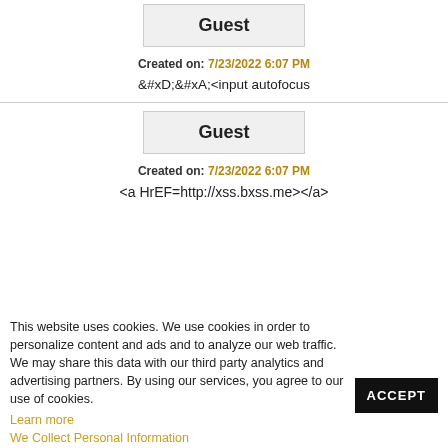Guest
Created on: 7/23/2022 6:07 PM
&#xD;&#xA;<input autofocus onfocus=kPhR(9808)>
Guest
Created on: 7/23/2022 6:07 PM
<a HrEF=http://xss.bxss.me></a>
This website uses cookies. We use cookies in order to personalize content and ads and to analyze our web traffic. We may share this data with our third party analytics and advertising partners. By using our services, you agree to our use of cookies.
Learn more
We Collect Personal Information